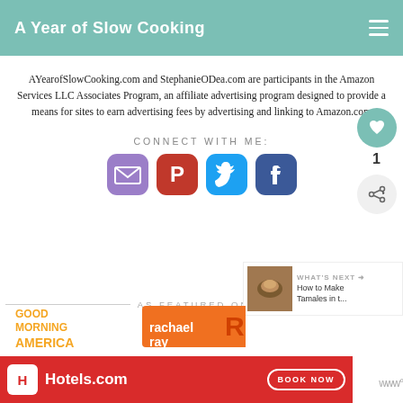A Year of Slow Cooking
AYearofSlowCooking.com and StephanieODea.com are participants in the Amazon Services LLC Associates Program, an affiliate advertising program designed to provide a means for sites to earn advertising fees by advertising and linking to Amazon.com
CONNECT WITH ME:
[Figure (infographic): Social media icons: email (purple), pinterest (red), twitter (blue), facebook (blue)]
[Figure (infographic): Heart/like button showing count of 1, and share button]
AS FEATURED ON
[Figure (infographic): What's Next panel with tamale image and text 'How to Make Tamales in t...']
[Figure (logo): Good Morning America logo and Rachael Ray logo]
[Figure (infographic): Hotels.com advertisement banner with Book Now button]